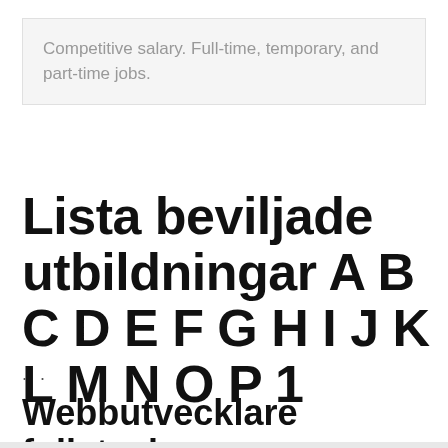Competitive salary. Full-time, temporary, and part-time jobs.
Lista beviljade utbildningar A B C D E F G H I J K L M N O P 1
· ·
Webbutvecklare fullstack open source - Nackademin